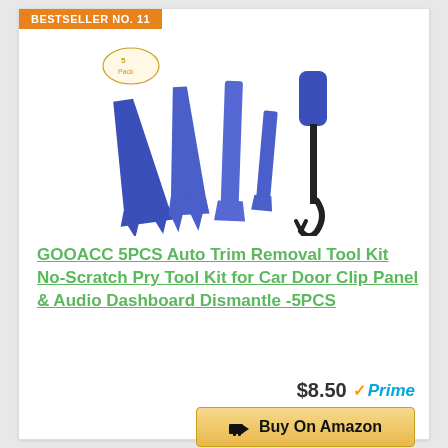BESTSELLER NO. 11
[Figure (photo): Five blue plastic auto trim removal pry tools and one metal hook tool, with a '5 Pack' badge in the upper left corner]
GOOACC 5PCS Auto Trim Removal Tool Kit No-Scratch Pry Tool Kit for Car Door Clip Panel & Audio Dashboard Dismantle -5PCS
$8.50 ✓Prime
🛒 Buy On Amazon